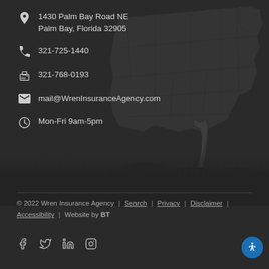1430 Palm Bay Road NE
Palm Bay, Florida 32905
321-725-1440
321-768-0193
mail@WrenInsuranceAgency.com
Mon-Fri 9am-5pm
[Figure (map): Dark background US map showing state outlines with Florida highlighted]
© 2022 Wren Insurance Agency | Search | Privacy | Disclaimer | Accessibility | Website by BT
Social icons: Facebook, Twitter, LinkedIn, Instagram